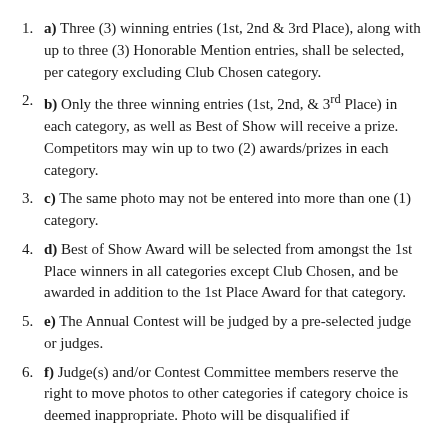a) Three (3) winning entries (1st, 2nd & 3rd Place), along with up to three (3) Honorable Mention entries, shall be selected, per category excluding Club Chosen category.
b) Only the three winning entries (1st, 2nd, & 3rd Place) in each category, as well as Best of Show will receive a prize. Competitors may win up to two (2) awards/prizes in each category.
c) The same photo may not be entered into more than one (1) category.
d) Best of Show Award will be selected from amongst the 1st Place winners in all categories except Club Chosen, and be awarded in addition to the 1st Place Award for that category.
e) The Annual Contest will be judged by a pre-selected judge or judges.
f) Judge(s) and/or Contest Committee members reserve the right to move photos to other categories if category choice is deemed inappropriate. Photo will be disqualified if